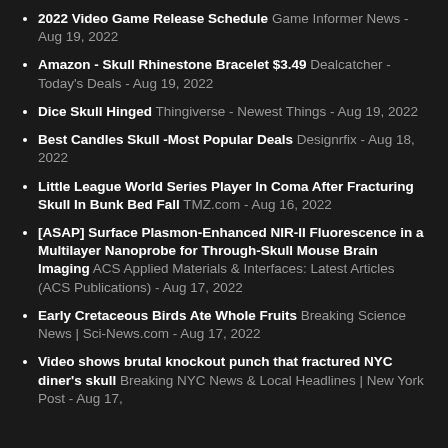2022 Video Game Release Schedule Game Informer News - Aug 19, 2022
Amazon - Skull Rhinestone Bracelet $3.49 Dealcatcher - Today's Deals - Aug 19, 2022
Dice Skull Hinged Thingiverse - Newest Things - Aug 19, 2022
Best Candles Skull -Most Popular Deals Designrfix - Aug 18, 2022
Little League World Series Player In Coma After Fracturing Skull In Bunk Bed Fall TMZ.com - Aug 16, 2022
[ASAP] Surface Plasmon-Enhanced NIR-II Fluorescence in a Multilayer Nanoprobe for Through-Skull Mouse Brain Imaging ACS Applied Materials & Interfaces: Latest Articles (ACS Publications) - Aug 17, 2022
Early Cretaceous Birds Ate Whole Fruits Breaking Science News | Sci-News.com - Aug 17, 2022
Video shows brutal knockout punch that fractured NYC diner's skull Breaking NYC News & Local Headlines | New York Post - Aug 17,